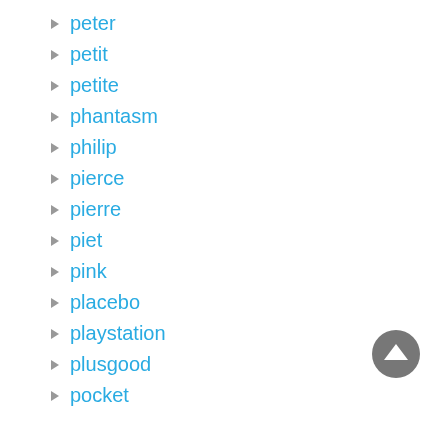peter
petit
petite
phantasm
philip
pierce
pierre
piet
pink
placebo
playstation
plusgood
pocket